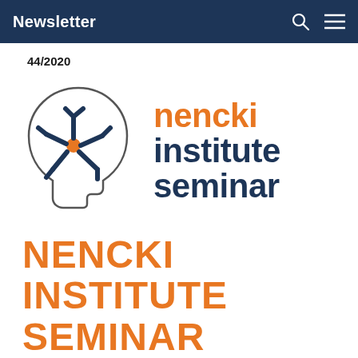Newsletter
44/2020
[Figure (logo): Nencki Institute Seminar logo: a human head silhouette (outline, facing right) with a neural/star-shaped symbol inside (dark blue lines radiating from a central orange circle), beside the text 'nencki institute seminar' in orange and dark blue bold sans-serif font]
NENCKI INSTITUTE SEMINAR